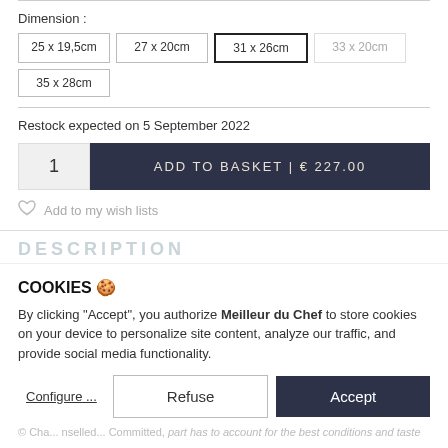Dimension :
25 x 19,5cm
27 x 20cm
31 x 26cm (selected)
33 x 20cm (disabled)
35 x 28cm
Restock expected on 5 September 2022
1  ADD TO BASKET | € 227.00
Add to my wish lists
DESCRIPTION
COOKIES 🍪
By clicking "Accept", you authorize Meilleur du Chef to store cookies on your device to personalize site content, analyze our traffic, and provide social media functionality.
Configure ...  Refuse  Accept